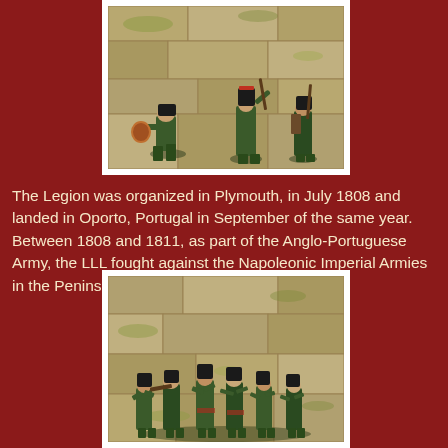[Figure (photo): Painted miniature toy soldiers in green uniforms posed against a stone wall background, top photo]
The Legion was organized in Plymouth, in July 1808 and landed in Oporto, Portugal in September of the same year. Between 1808 and 1811, as part of the Anglo-Portuguese Army, the LLL fought against the Napoleonic Imperial Armies in the Peninsular War.
[Figure (photo): Painted miniature toy soldiers in green uniforms with black shakos, group scene against a stone wall background, bottom photo]